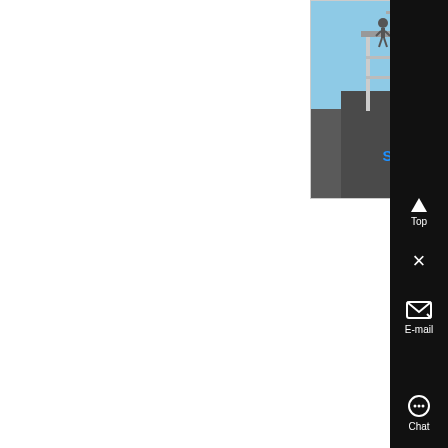[Figure (photo): Photo of an industrial iron ore processing facility with scaffolding/crane structure against a blue sky, with 'SKY' text overlay in blue]
Iron Ore Project - Tidco
Iron Ore Project Kanjamalai in Salem and Kavuthimalai and Vediappanmalai in Thiruvannamalai Districts of Tamil Nadu have low grade iron ore deposits ...
Know More